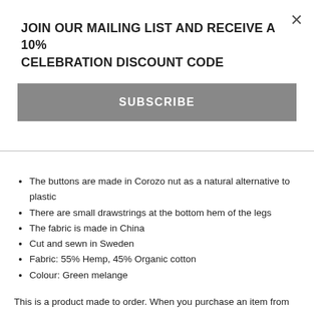JOIN OUR MAILING LIST AND RECEIVE A 10% CELEBRATION DISCOUNT CODE
SUBSCRIBE
The buttons are made in Corozo nut as a natural alternative to plastic
There are small drawstrings at the bottom hem of the legs
The fabric is made in China
Cut and sewn in Sweden
Fabric: 55% Hemp, 45% Organic cotton
Colour: Green melange
This is a product made to order. When you purchase an item from Units of Thebe, we will start the process of making this specific piece for you. Please allow for it to take 3-4 weeks to finish it before we can send it. One item takes approximately 8-15 hours to make, if we have all materials at hand. This is a slow fashion product.
Model is a size 48 and is 1,83 m tall. He wears size M.